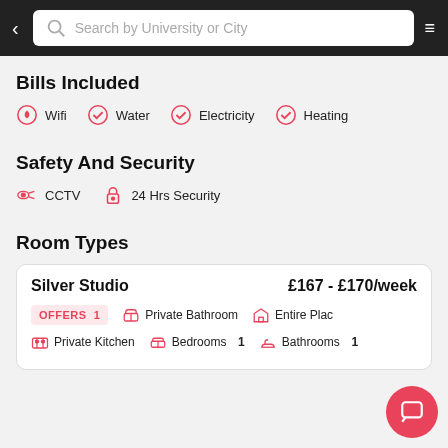Search by University or City
Bills Included
Wifi
Water
Electricity
Heating
Safety And Security
CCTV
24 Hrs Security
Room Types
| Room | Price | Features |
| --- | --- | --- |
| Silver Studio | £167 - £170/week | OFFERS 1 | Private Bathroom | Entire Place | Private Kitchen | Bedrooms 1 | Bathrooms 1 |